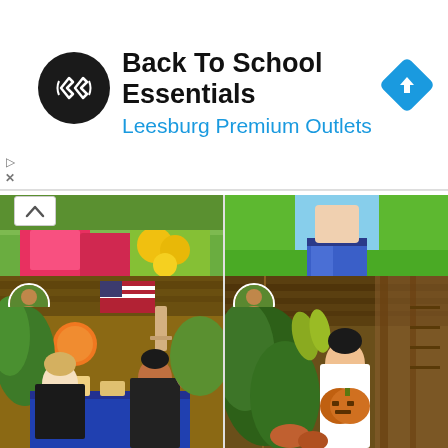[Figure (infographic): Advertisement banner: Back To School Essentials at Leesburg Premium Outlets, with black circular logo containing white arrow/chevron icon and blue navigation diamond icon on right]
[Figure (photo): Photo of colorful food packages and fruits on a table]
[Figure (photo): Photo of person in denim jeans standing on green grass]
mariarona12
2 years ago
A month ago, I complained about Ollie's getting bumps all over his body. He had...
mariarona12
2 years ago
Your Tita of Manila is too busy that I forgot to take care of these two small pl...
[Figure (photo): Photo of outdoor party scene with American flag, orange lanterns, people sitting at table with blue tablecloth]
[Figure (photo): Photo of woman standing in rustic barn/nursery area holding a pumpkin, surrounded by plants and banana bunches]